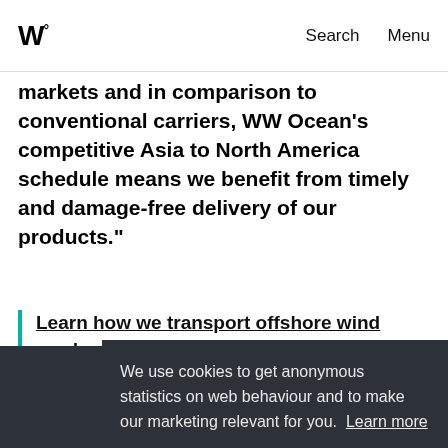W° Search Menu
markets and in comparison to conventional carriers, WW Ocean's competitive Asia to North America schedule means we benefit from timely and damage-free delivery of our products."
Learn how we transport offshore wind products
Po
[Figure (illustration): Share icon (three circles connected by lines)]
continuing to be constructed, so the onus is
We use cookies to get anonymous statistics on web behaviour and to make our marketing relevant for you. Learn more Decline Allow